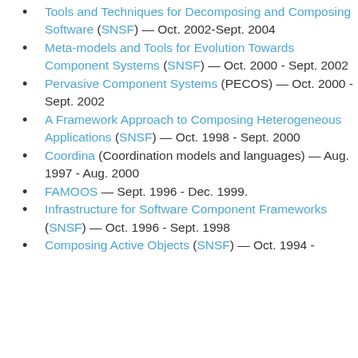Tools and Techniques for Decomposing and Composing Software (SNSF) — Oct. 2002-Sept. 2004
Meta-models and Tools for Evolution Towards Component Systems (SNSF) — Oct. 2000 - Sept. 2002
Pervasive Component Systems (PECOS) — Oct. 2000 - Sept. 2002
A Framework Approach to Composing Heterogeneous Applications (SNSF) — Oct. 1998 - Sept. 2000
Coordina (Coordination models and languages) — Aug. 1997 - Aug. 2000
FAMOOS — Sept. 1996 - Dec. 1999.
Infrastructure for Software Component Frameworks (SNSF) — Oct. 1996 - Sept. 1998
Composing Active Objects (SNSF) — Oct. 1994 - Sept. 1996